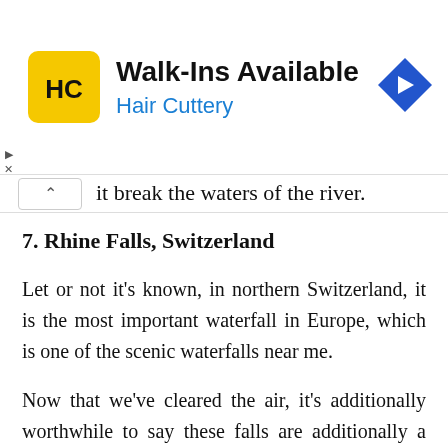[Figure (screenshot): Advertisement banner for Hair Cuttery: yellow square logo with HC monogram, text 'Walk-Ins Available' and 'Hair Cuttery' in blue, navigation arrow icon on the right]
it break the waters of the river.
7. Rhine Falls, Switzerland
Let or not it's known, in northern Switzerland, it is the most important waterfall in Europe, which is one of the scenic waterfalls near me.
Now that we've cleared the air, it's additionally worthwhile to say these falls are additionally a few of the most idyllic